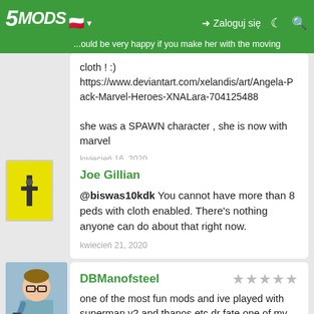5MODS - Zaloguj się navigation bar
...would be very happy if you make her with the moving cloth ! :) https://www.deviantart.com/xelandis/art/Angela-Pack-Marvel-Heroes-XNALara-704125488

she was a SPAWN character , she is now with marvel

kwiecień 16, 2020
Joe Gillian
@biswas10kdk You cannot have more than 8 peds with cloth enabled. There's nothing anyone can do about that right now.
kwiecień 21, 2020
DBManofsteel
one of the most fun mods and ive played with superman v2 and thanos etc dr fate one of my fave characters and at first thought it was just a sk[X]ut omg so much fun to useand that was before i chanced upon the abiltiy wheel (couldnt find any list of controls)